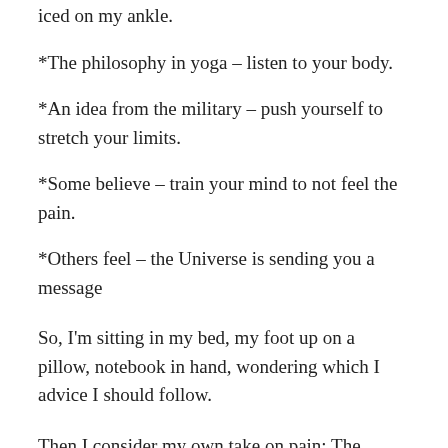iced on my ankle.
*The philosophy in yoga – listen to your body.
*An idea from the military – push yourself to stretch your limits.
*Some believe – train your mind to not feel the pain.
*Others feel – the Universe is sending you a message
So, I'm sitting in my bed, my foot up on a pillow, notebook in hand, wondering which I advice I should follow.
Then I consider my own take on pain: The learning curve. Pain is meant to teach us something.
Physical sensation during with and learning